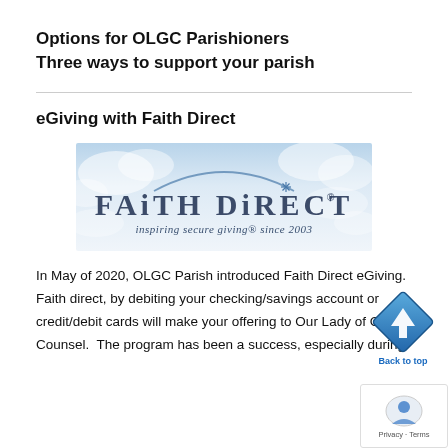Options for OLGC Parishioners
Three ways to support your parish
eGiving with Faith Direct
[Figure (logo): Faith Direct logo — blue sky background with arch, text reads 'FAITH DIRECT® inspiring secure giving® since 2003']
In May of 2020, OLGC Parish introduced Faith Direct eGiving. Faith direct, by debiting your checking/savings account or credit/debit cards will make your offering to Our Lady of Good Counsel. The program has been a success, especially during